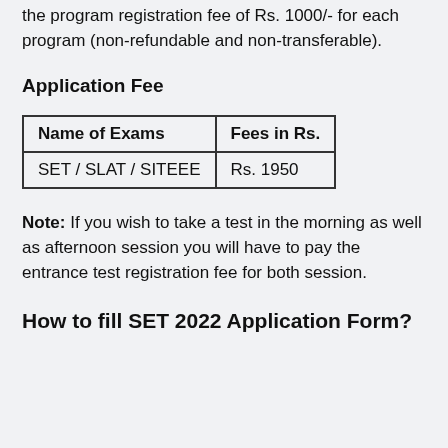the program registration fee of Rs. 1000/- for each program (non-refundable and non-transferable).
Application Fee
| Name of Exams | Fees in Rs. |
| --- | --- |
| SET / SLAT / SITEEE | Rs. 1950 |
Note: If you wish to take a test in the morning as well as afternoon session you will have to pay the entrance test registration fee for both session.
How to fill SET 2022 Application Form?